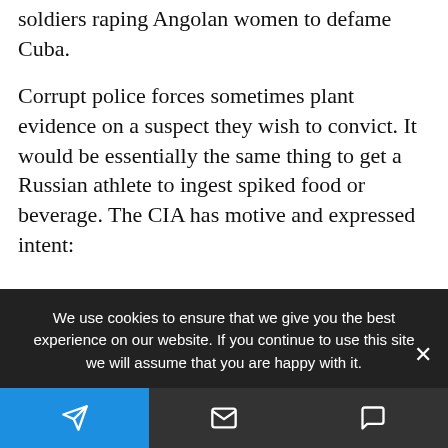soldiers raping Angolan women to defame Cuba.
Corrupt police forces sometimes plant evidence on a suspect they wish to convict. It would be essentially the same thing to get a Russian athlete to ingest spiked food or beverage. The CIA has motive and expressed intent:
* In contrast with Russian leaders who call the US a “partner”, US officials increasingly call Russia an “adversary”. The latest US National Security Strategy explicitly says they intend to
We use cookies to ensure that we give you the best experience on our website. If you continue to use this site we will assume that you are happy with it.
[Figure (infographic): Bottom navigation bar with blue Telegram button, grey email button, and grey chat button]